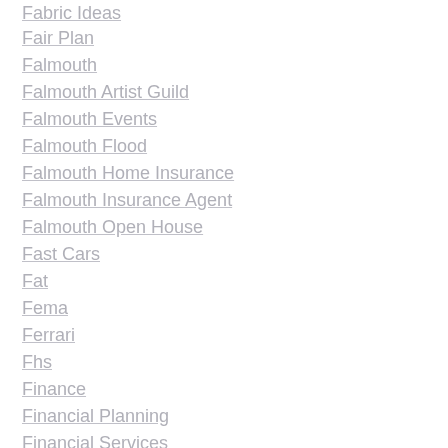Fabric Ideas
Fair Plan
Falmouth
Falmouth Artist Guild
Falmouth Events
Falmouth Flood
Falmouth Home Insurance
Falmouth Insurance Agent
Falmouth Open House
Fast Cars
Fat
Fema
Ferrari
Fhs
Finance
Financial Planning
Financial Services
Fire
Flood